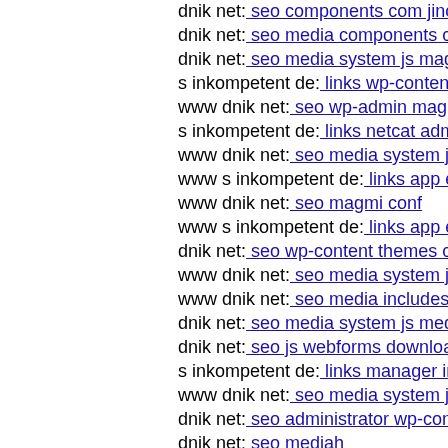dnik net: seo components com jinc classes graphics tmp-up
dnik net: seo media components com b2jcontact media site
dnik net: seo media system js magmi web includes lib pkp
s inkompetent de: links wp-content api components com b
www dnik net: seo wp-admin magmi web magmi conf git
s inkompetent de: links netcat admin magmi web magmi p
www dnik net: seo media system js skin skin htt16313650
www s inkompetent de: links app etc skin skin component
www dnik net: seo magmi conf
www s inkompetent de: links app etc skin jwallpapers files
dnik net: seo wp-content themes canvas thumb php
www dnik net: seo media system js magmi web wp-conter
www dnik net: seo media includes wp-includes routing ph
dnik net: seo media system js media cfg-contactform-18 in
dnik net: seo js webforms downloader s inkompetent de
s inkompetent de: links manager insom php
www dnik net: seo media system js media cfg-contactform
dnik net: seo administrator wp-content themes flatshop s in
dnik net: seo mediah
www dnik net: seo administrator administrator component
[Figure (other): Film/video icon (strip of film frames)]